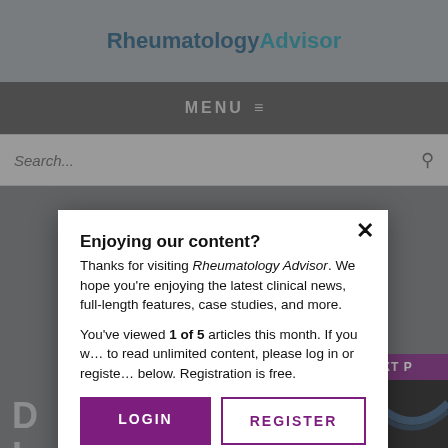RheumatologyAdvisor
MENU
Search...
[Figure (screenshot): Background of rheumatology advisor website article page, partially visible]
Enjoying our content?
Thanks for visiting Rheumatology Advisor. We hope you're enjoying the latest clinical news, full-length features, case studies, and more.
You've viewed 1 of 5 articles this month. If you want to read unlimited content, please log in or register below. Registration is free.
LOGIN
REGISTER